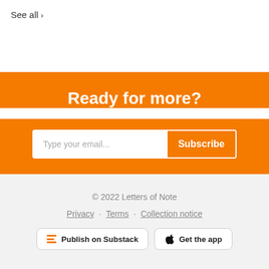See all ›
Ready for more?
Type your email... Subscribe
© 2022 Letters of Note
Privacy · Terms · Collection notice
Publish on Substack   Get the app